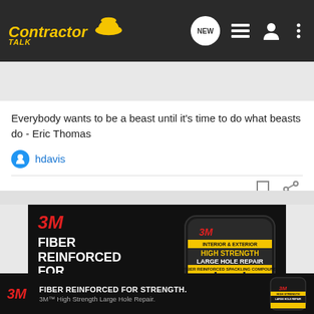[Figure (screenshot): ContractorTalk website navigation bar with logo, NEW button, list icon, user icon, and more icon on dark background]
[Figure (screenshot): Search Community search bar on dark grey background with magnifying glass icon]
Everybody wants to be a beast until it's time to do what beasts do - Eric Thomas
hdavis
[Figure (advertisement): 3M Fiber Reinforced For Strength advertisement showing product container for High Strength Large Hole Repair Fiber Reinforced Spackling Compound on black background]
[Figure (advertisement): 3M bottom banner ad: FIBER REINFORCED FOR STRENGTH. 3M High Strength Large Hole Repair.]